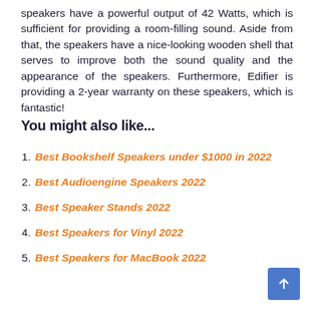speakers have a powerful output of 42 Watts, which is sufficient for providing a room-filling sound. Aside from that, the speakers have a nice-looking wooden shell that serves to improve both the sound quality and the appearance of the speakers. Furthermore, Edifier is providing a 2-year warranty on these speakers, which is fantastic!
You might also like...
Best Bookshelf Speakers under $1000 in 2022
Best Audioengine Speakers 2022
Best Speaker Stands 2022
Best Speakers for Vinyl 2022
Best Speakers for MacBook 2022